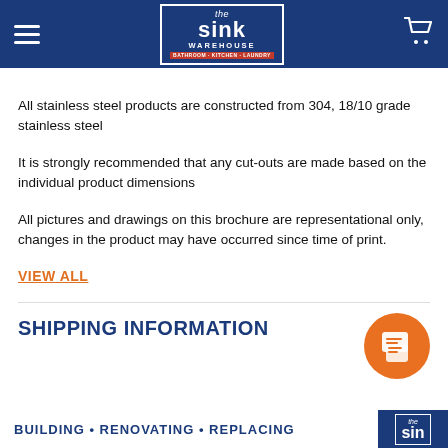The Sink Warehouse — Navigation header
All stainless steel products are constructed from 304, 18/10 grade stainless steel
It is strongly recommended that any cut-outs are made based on the individual product dimensions
All pictures and drawings on this brochure are representational only, changes in the product may have occurred since time of print.
VIEW ALL
SHIPPING INFORMATION
BUILDING • RENOVATING • REPLACING